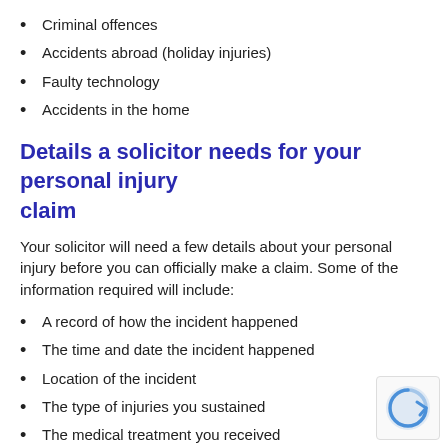Criminal offences
Accidents abroad (holiday injuries)
Faulty technology
Accidents in the home
Details a solicitor needs for your personal injury claim
Your solicitor will need a few details about your personal injury before you can officially make a claim. Some of the information required will include:
A record of how the incident happened
The time and date the incident happened
Location of the incident
The type of injuries you sustained
The medical treatment you received
Name and contact details of anyone else involved in the incident
Name and contact details of any witnesses
Registration numbers of vehicles involved (if applicable)
Quentin says:  “We provide a personalised experience for all customers. After our initial free telephone consultation with you